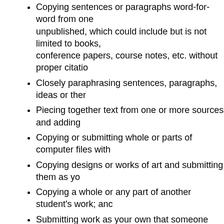Copying sentences or paragraphs word-for-word from one or more sources, published or unpublished, which could include but is not limited to books, journals, reports, theses, conference papers, course notes, etc. without proper citation
Closely paraphrasing sentences, paragraphs, ideas or themes
Piecing together text from one or more sources and adding
Copying or submitting whole or parts of computer files with
Copying designs or works of art and submitting them as yo
Copying a whole or any part of another student's work; and
Submitting work as your own that someone else has done
Enabling Plagiarism: the act of assisting or allowing another student to plagiarise. This work is also an offence.
For further information, please see the RMIT Assessment and as https://www.rmit.edu.au/about/governance-and-management/go the RMIT Student Conduct Regulations - https://www.rmit.edu.au/about/governance-and-management/governance/statutes-and-regulations/student-cond
Plagiarism Software
The originality verification software Turnitin may be used in this c see: http://www.turnitin.com